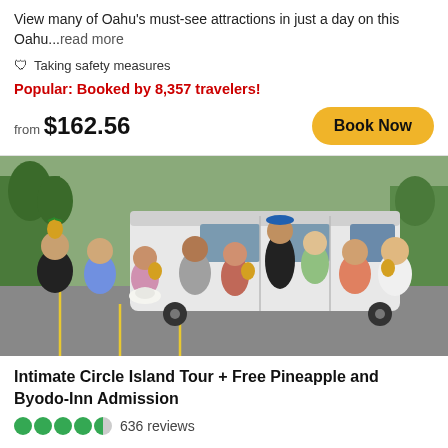View many of Oahu's must-see attractions in just a day on this Oahu...read more
Taking safety measures
Popular: Booked by 8,357 travelers!
from $162.56
Book Now
[Figure (photo): Group of tourists holding pineapples posed in front of a white van in a parking lot with trees in the background]
Intimate Circle Island Tour + Free Pineapple and Byodo-Inn Admission
636 reviews